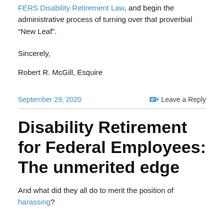FERS Disability Retirement Law, and begin the administrative process of turning over that proverbial “New Leaf”.
Sincerely,
Robert R. McGill, Esquire
September 29, 2020
Leave a Reply
Disability Retirement for Federal Employees: The unmerited edge
And what did they all do to merit the position of harassing?